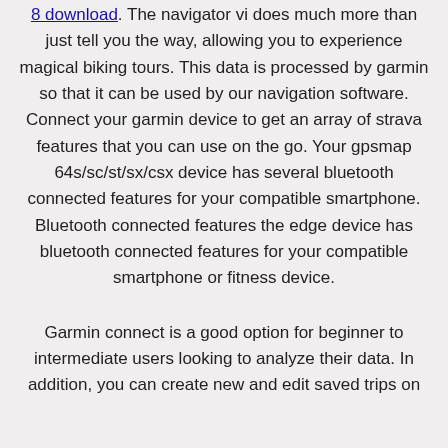8 download. The navigator vi does much more than just tell you the way, allowing you to experience magical biking tours. This data is processed by garmin so that it can be used by our navigation software. Connect your garmin device to get an array of strava features that you can use on the go. Your gpsmap 64s/sc/st/sx/csx device has several bluetooth connected features for your compatible smartphone. Bluetooth connected features the edge device has bluetooth connected features for your compatible smartphone or fitness device.
Garmin connect is a good option for beginner to intermediate users looking to analyze their data. In addition, you can create new and edit saved trips on